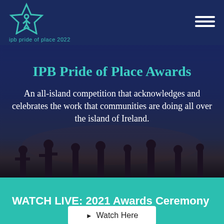ipb pride of place 2022
IPB Pride of Place Awards
An all-island competition that acknowledges and celebrates the work that communities are doing all over the island of Ireland.
WATCH LIVE: 2021 Awards Ceremony
Watch Here